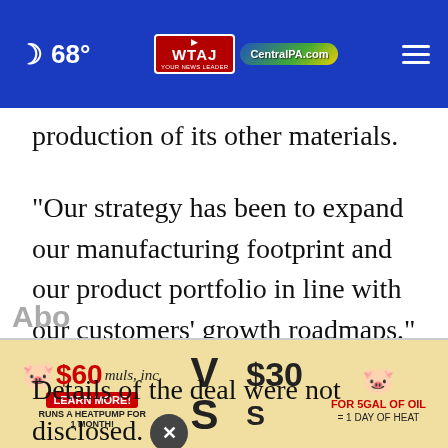🌙 68° | WTAJ YOUR NEWS LEADER | CentralPA.com
production of its other materials.
"Our strategy has been to expand our manufacturing footprint and our product portfolio in line with our customers' growth roadmaps," said Isaac Khalil, senior vice president for polyamides at Ascend. "South Asia is a vital part of that growth."
Details of the deal were not disclosed.
Abo…als
[Figure (screenshot): Advertisement banner: $60 muls, inc. LEARN MORE! RUNS A HEATPUMP FOR 1 MONTH! V$30 S FOR 5GAL OF OIL = 1 DAY OF HEAT]